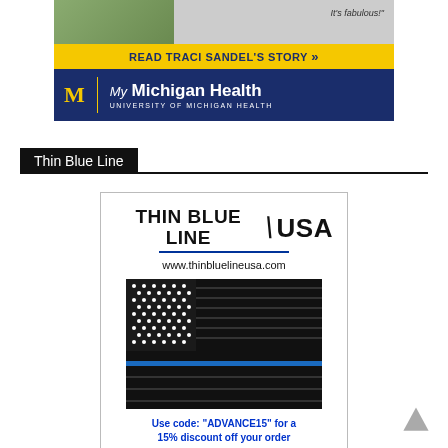[Figure (illustration): My Michigan Health advertisement banner with photo strip, yellow bar reading 'READ TRACI SANDEL'S STORY »', and dark blue bar with University of Michigan Health logo]
Thin Blue Line
[Figure (illustration): Thin Blue Line USA advertisement with logo, website www.thinbluelineusa.com, thin blue line American flag graphic, and promo text 'Use code: "ADVANCE15" for a 15% discount off your order']